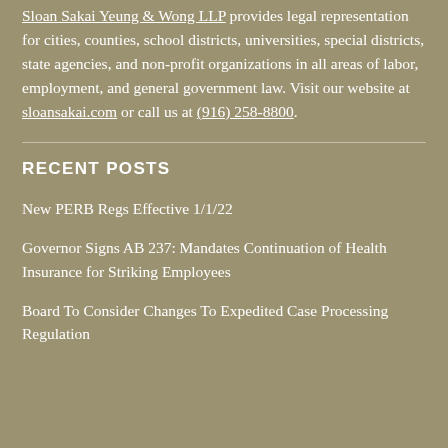Sloan Sakai Yeung & Wong LLP provides legal representation for cities, counties, school districts, universities, special districts, state agencies, and non-profit organizations in all areas of labor, employment, and general government law. Visit our website at sloansakai.com or call us at (916) 258-8800.
RECENT POSTS
New PERB Regs Effective 1/1/22
Governor Signs AB 237: Mandates Continuation of Health Insurance for Striking Employees
Board To Consider Changes To Expedited Case Processing Regulation